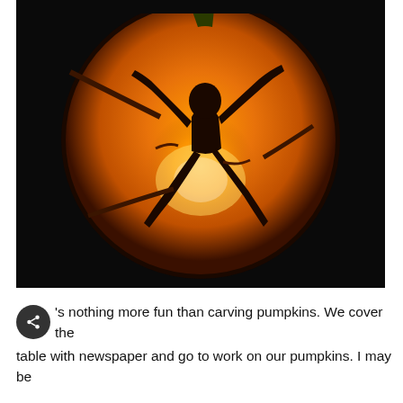[Figure (photo): A carved Halloween pumpkin glowing orange from within, showing a silhouette of a person (possibly a superhero or flying figure) with arms and legs extended, carved into the pumpkin skin. The background is dark/black, and the interior orange glow illuminates the intricate carved design.]
's nothing more fun than carving pumpkins. We cover the table with newspaper and go to work on our pumpkins. I may be